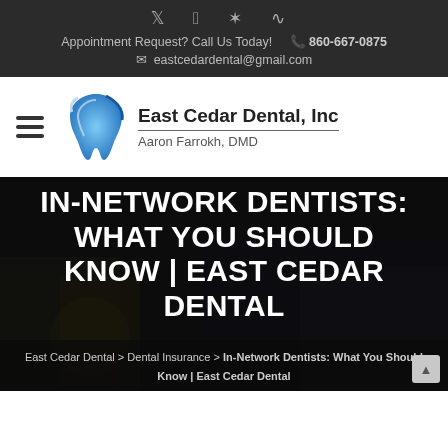Appointment Request? Call Us Today! 860-667-0875 eastcedardental@gmail.com
[Figure (logo): East Cedar Dental, Inc logo with stylized tooth in blue and silver, Aaron Farrokh, DMD]
IN-NETWORK DENTISTS: WHAT YOU SHOULD KNOW | EAST CEDAR DENTAL
East Cedar Dental > Dental Insurance > In-Network Dentists: What You Should Know | East Cedar Dental